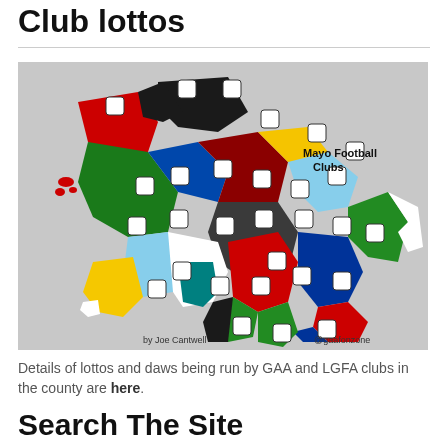Club lottos
[Figure (map): A colourful map of Mayo county showing the territories of Mayo Football Clubs, each region coloured differently and overlaid with club crests/shields. Labelled 'Mayo Football Clubs', 'by Joe Cantwell', and '@gaafonzone'.]
Details of lottos and daws being run by GAA and LGFA clubs in the county are here.
Search The Site